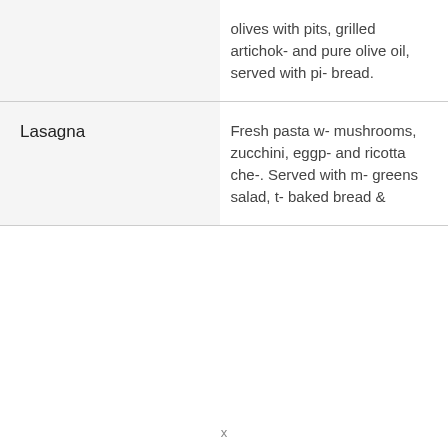| Item | Description |
| --- | --- |
|  | olives with pits, grilled artichokes, and pure olive oil, served with pi- bread. |
| Lasagna | Fresh pasta w- mushrooms, zucchini, eggp- and ricotta che-. Served with m- greens salad, t- baked bread & |
x